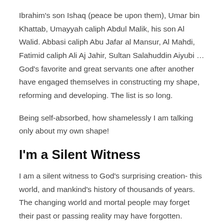Ibrahim's son Ishaq (peace be upon them), Umar bin Khattab, Umayyah caliph Abdul Malik, his son Al Walid. Abbasi caliph Abu Jafar al Mansur, Al Mahdi, Fatimid caliph Ali Aj Jahir, Sultan Salahuddin Aiyubi …God's favorite and great servants one after another have engaged themselves in constructing my shape, reforming and developing. The list is so long.
Being self-absorbed, how shamelessly I am talking only about my own shape!
I'm a Silent Witness
I am a silent witness to God's surprising creation- this world, and mankind's history of thousands of years. The changing world and mortal people may forget their past or passing reality may have forgotten. Having spent thousands of years in the stand, I did not even close my eyes for a single moment. I did not miss anything to see, I also did not forget anything. Thinking me just a stone, people